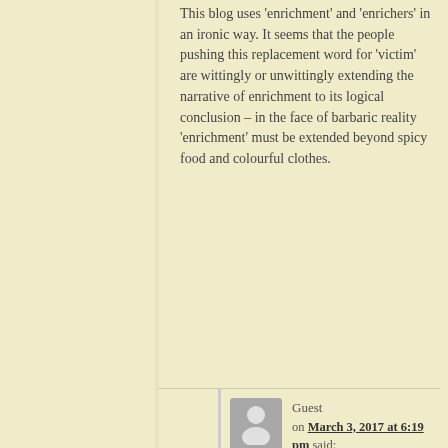This blog uses 'enrichment' and 'enrichers' in an ironic way. It seems that the people pushing this replacement word for 'victim' are wittingly or unwittingly extending the narrative of enrichment to its logical conclusion – in the face of barbaric reality 'enrichment' must be extended beyond spicy food and colourful clothes.
Guest on March 3, 2017 at 6:19 pm said:
Yes :(.
ludwig2718282